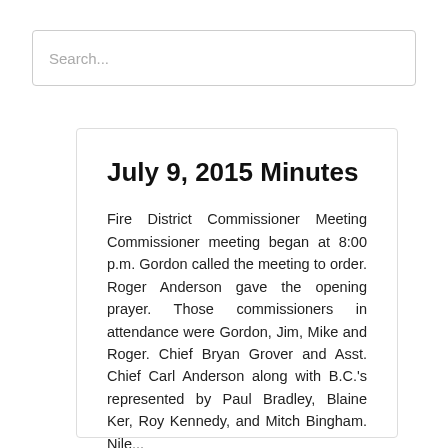[Figure (other): Search input box with placeholder text 'Search...']
July 9, 2015 Minutes
Fire District Commissioner Meeting Commissioner meeting began at 8:00 p.m. Gordon called the meeting to order. Roger Anderson gave the opening prayer. Those commissioners in attendance were Gordon, Jim, Mike and Roger. Chief Bryan Grover and Asst. Chief Carl Anderson along with B.C.'s represented by Paul Bradley, Blaine Ker, Roy Kennedy, and Mitch Bingham. Nile...